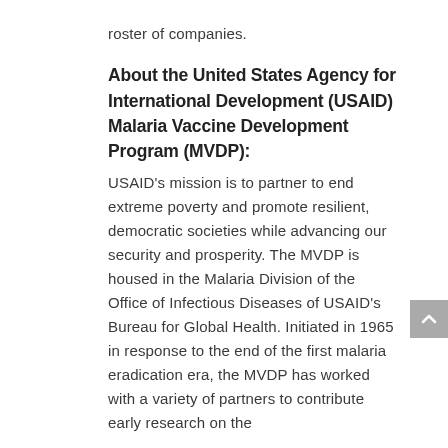roster of companies.
About the United States Agency for International Development (USAID) Malaria Vaccine Development Program (MVDP):
USAID's mission is to partner to end extreme poverty and promote resilient, democratic societies while advancing our security and prosperity. The MVDP is housed in the Malaria Division of the Office of Infectious Diseases of USAID's Bureau for Global Health. Initiated in 1965 in response to the end of the first malaria eradication era, the MVDP has worked with a variety of partners to contribute early research on the